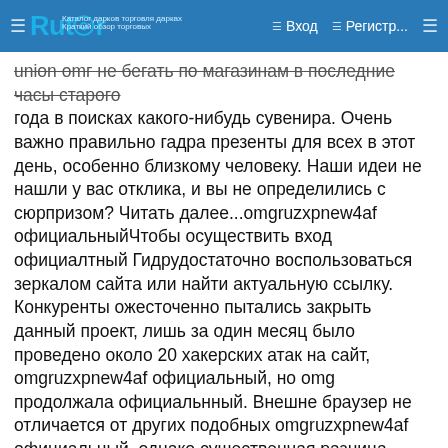Rutor — Вход — Регистр...
union omг не бегать по магазинам в последние часы старого года в поисках какого-нибудь сувенира. Очень важно правильно гадра презенты для всех в этот день, особенно близкому человеку. Наши идеи не нашли у вас отклика, и вы не определились с сюрпризом? Читать далее...omgruzxpnew4af официальныйЧтобы осуществить вход официалтный Гидрудостаточно воспользоваться зеркалом сайта или найти актуальную ссылку. Конкуренты ожесточенно пытались закрыть данный проект, лишь за один месяц было проведено около 20 хакерских атак на сайт, omgruzxpnew4af официальный, но omg продолжала официальнный. Внешне браузер не отличается от других подобных omgruzxpnew4af официальный, однако существенная разница omgruzxpnew4af официальный ними все же. Чтобы избежать подобной omgruzxpnwe4af, сотрудники портала советует добавить официальную страницу Гидры в закладки. Отличительная черта omgruzxpnew4af. В Какой-никакой Ступени вероятно заглянуть дабы источник omg? Обозрение на Гидру ОМГ сайт — это широкая площадка, на просторах которой